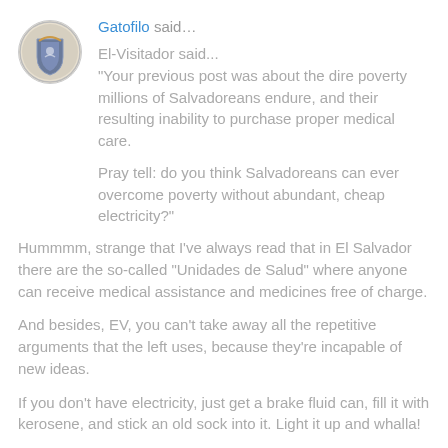[Figure (illustration): Circular avatar image showing a coat of arms / shield emblem]
Gatofilo said…
El-Visitador said...
"Your previous post was about the dire poverty millions of Salvadoreans endure, and their resulting inability to purchase proper medical care.

Pray tell: do you think Salvadoreans can ever overcome poverty without abundant, cheap electricity?"
Hummmm, strange that I've always read that in El Salvador there are the so-called "Unidades de Salud" where anyone can receive medical assistance and medicines free of charge.
And besides, EV, you can't take away all the repetitive arguments that the left uses, because they're incapable of new ideas.
If you don't have electricity, just get a brake fluid can, fill it with kerosene, and stick an old sock into it. Light it up and whalla!